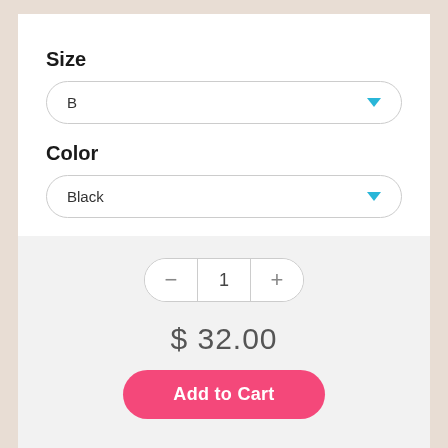Size
[Figure (screenshot): Dropdown selector showing 'B' with a teal chevron arrow on right, rounded border]
Color
[Figure (screenshot): Dropdown selector showing 'Black' with a teal chevron arrow on right, rounded border]
[Figure (screenshot): Quantity stepper with minus button, value 1, plus button in rounded pill shape]
$ 32.00
[Figure (screenshot): Pink 'Add to Cart' rounded button]
[Figure (screenshot): Four circular grey social media icons: Facebook, Twitter, Google+, Pinterest]